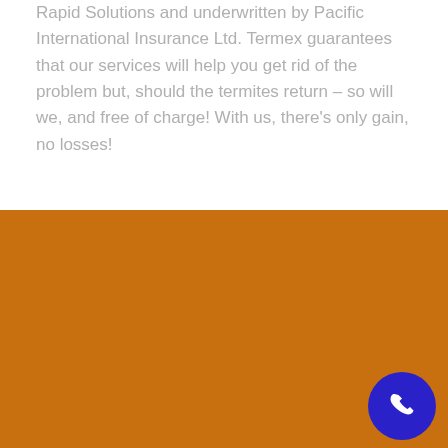Rapid Solutions and underwritten by Pacific International Insurance Ltd. Termex guarantees that our services will help you get rid of the problem but, should the termites return – so will we, and free of charge! With us, there's only gain, no losses!
Ask us!
Our licensed operators can advise you of the most effective pest control treatment in Alcester that will have minimum impact on the environment in which you live or work.
Hence, Termex Pest Control Services use best treatments